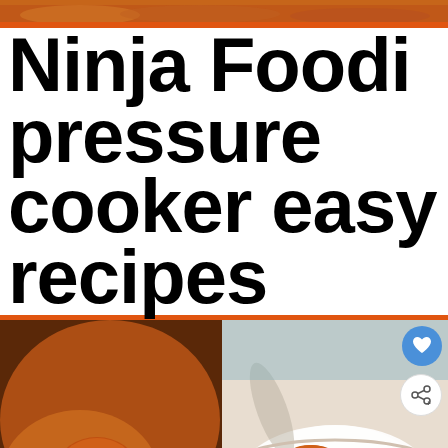[Figure (photo): Top strip photo of food, appears to be a colorful dish with orange/red tones]
Ninja Foodi pressure cooker easy recipes
[Figure (photo): Two food photos side by side: left shows a hand holding a glazed chicken piece covered in sesame sauce; right shows a bowl of glazed chicken pieces over rice. Overlay includes heart/share buttons, and a 'WHAT'S NEXT' card showing '67+ Easy Ninja Foodi...']
[Figure (photo): Bottom ad strip: photo of two people (Steven Tyler and another person) with text 'Steven Tyler Finally Confirms the Rumors' and Musicaholics source, plus a logo on the right]